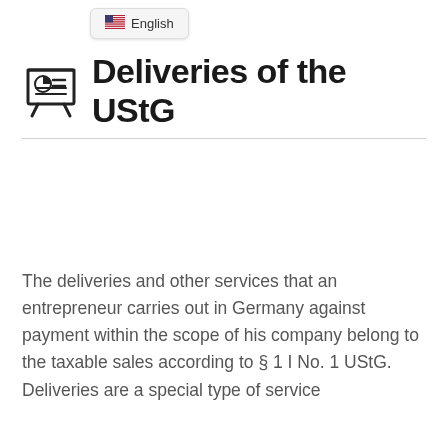English
Deliveries of the UStG
The deliveries and other services that an entrepreneur carries out in Germany against payment within the scope of his company belong to the taxable sales according to § 1 I No. 1 UStG. Deliveries are a special type of service...